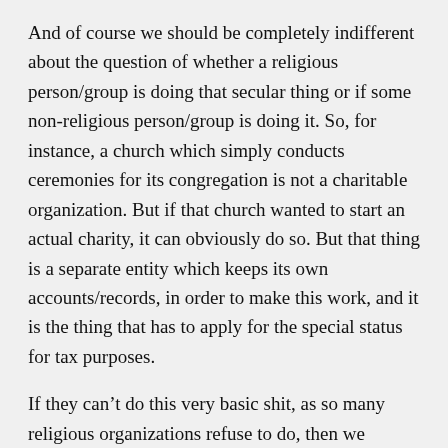And of course we should be completely indifferent about the question of whether a religious person/group is doing that secular thing or if some non-religious person/group is doing it. So, for instance, a church which simply conducts ceremonies for its congregation is not a charitable organization. But if that church wanted to start an actual charity, it can obviously do so. But that thing is a separate entity which keeps its own accounts/records, in order to make this work, and it is the thing that has to apply for the special status for tax purposes.
If they can’t do this very basic shit, as so many religious organizations refuse to do, then we should not treat them like charities, in which case the IRS just does its job and collects taxes like normal.
But no part of this involves telling anybody religious or